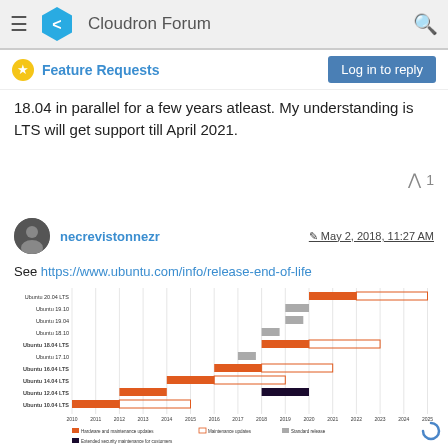Cloudron Forum
Feature Requests
18.04 in parallel for a few years atleast. My understanding is LTS will get support till April 2021.
necrevistonnezr — May 2, 2018, 11:27 AM
See https://www.ubuntu.com/info/release-end-of-life
[Figure (bar-chart): Gantt-style horizontal bar chart showing Ubuntu release support timelines from 2010 to 2025. Bars indicate hardware and maintenance updates (orange), maintenance updates (white/outline), standard release (gray), and extended security maintenance for customers (black).]